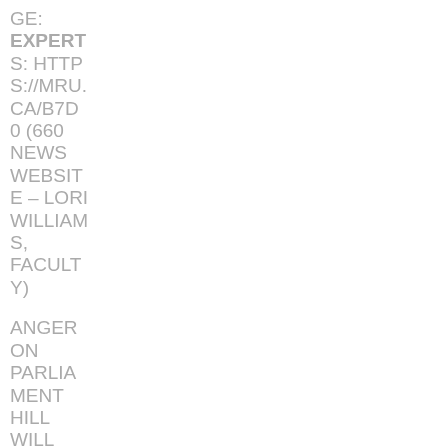GE: EXPERTS: HTTPS://MRU.CA/B7D0 (660 NEWS WEBSITE – LORI WILLIAMS, FACULTY)
ANGER ON PARLIAMENT HILL WILL CONTINUE: HTTPS://MRU.CA/4D38 (660 NEWS